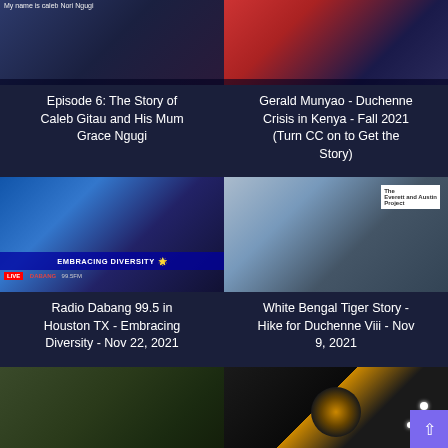[Figure (screenshot): Thumbnail showing people, top-left video]
Episode 6: The Story of Caleb Gitau and His Mum Grace Ngugi
[Figure (screenshot): Thumbnail showing person in red outfit, top-right video]
Gerald Munyao - Duchenne Crisis in Kenya - Fall 2021 (Turn CC on to Get the Story)
[Figure (screenshot): Radio Dabang TV show panel with 4 people, Embracing Diversity banner]
Radio Dabang 99.5 in Houston TX - Embracing Diversity - Nov 22, 2021
[Figure (screenshot): Man with white cap in front of Everett and Austin Project banner]
White Bengal Tiger Story - Hike for Duchenne Viii - Nov 9, 2021
[Figure (screenshot): Man outdoors in winter forest with beanie hat]
500 Mile Autumn - Hike for Duchenne Viii - 22 mile
[Figure (screenshot): Person in yellow hoodie outdoors at night]
A Story about Everett Austin while Hiking Bear